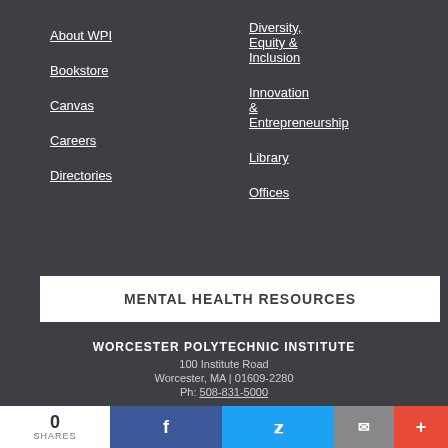About WPI
Bookstore
Canvas
Careers
Directories
Diversity, Equity & Inclusion
Innovation & Entrepreneurship
Library
Offices
MENTAL HEALTH RESOURCES
WORCESTER POLYTECHNIC INSTITUTE
100 Institute Road
Worcester, MA | 01609-2280
Ph: 508-831-5000
Contact Us | Coming to Campus | COVID-19
0 SHARES